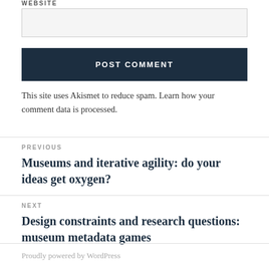WEBSITE
[Figure (other): Website input text field (empty, light gray background)]
POST COMMENT
This site uses Akismet to reduce spam. Learn how your comment data is processed.
PREVIOUS
Museums and iterative agility: do your ideas get oxygen?
NEXT
Design constraints and research questions: museum metadata games
Proudly powered by WordPress